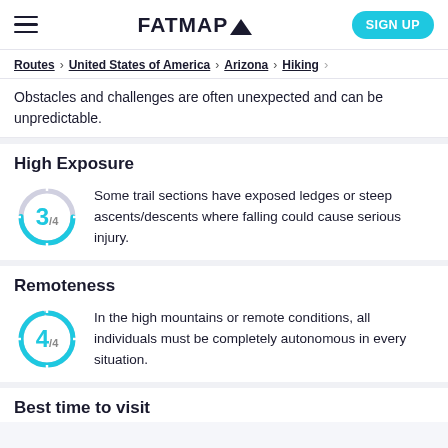FATMAP▲  SIGN UP
Routes > United States of America > Arizona > Hiking >
Obstacles and challenges are often unexpected and can be unpredictable.
High Exposure
[Figure (donut-chart): Circular gauge showing rating 3 out of 4, with blue arc filling 3/4 of the circle]
Some trail sections have exposed ledges or steep ascents/descents where falling could cause serious injury.
Remoteness
[Figure (donut-chart): Circular gauge showing rating 4 out of 4, with blue arc filling the full circle]
In the high mountains or remote conditions, all individuals must be completely autonomous in every situation.
Best time to visit